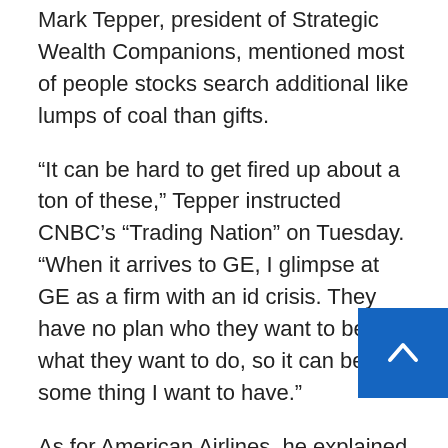Mark Tepper, president of Strategic Wealth Companions, mentioned most of people stocks search additional like lumps of coal than gifts.
“It can be hard to get fired up about a ton of these,” Tepper instructed CNBC’s “Trading Nation” on Tuesday. “When it arrives to GE, I glimpse at GE as a firm with an id crisis. They have no plan who they want to be, what they want to do, so it can be not some thing I want to have.”
As for American Airlines, he explained he’d prefer what he sees as the improved-managed Delta. Hewlett Packard has benefited from a pull forward in laptop or computer product sales that will gradual down, he claimed, and Hole has struggled with income at some of its franchises, together with Banana Republic.
There is a single inventory on the list he sees as just one to watch, while